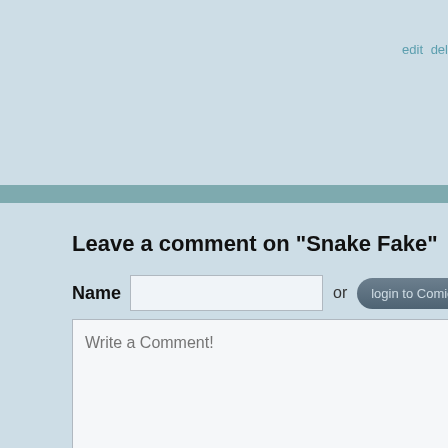edit del
Leave a comment on "Snake Fake"
[Figure (screenshot): Web form with Name input field, 'or' text, and a 'login to ComicFury' button]
[Figure (screenshot): Large textarea with placeholder text 'Write a Comment!']